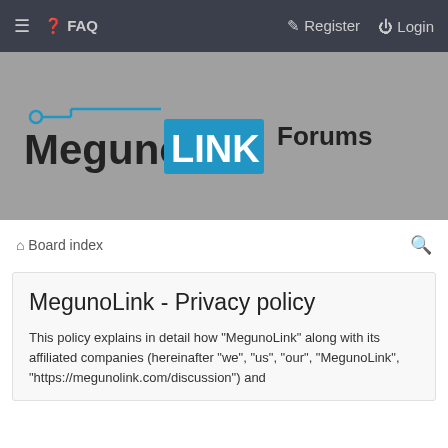≡  ❓ FAQ    ✎ Register  ⏻ Login
[Figure (logo): MegunoLink logo with circuit-board graphic and 'LINK' in blue rectangle, alongside 'Forums' text]
🏠 Board index
MegunoLink - Privacy policy
This policy explains in detail how "MegunoLink" along with its affiliated companies (hereinafter "we", "us", "our", "MegunoLink", "https://megunolink.com/discussion") and